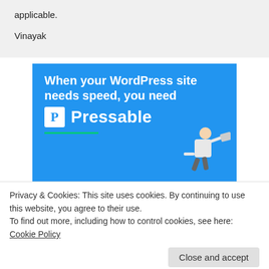applicable.

Vinayak
[Figure (illustration): Advertisement banner with blue background showing 'When your WordPress site needs speed, you need Pressable' text with a white P logo and a person running/leaping with a laptop]
Privacy & Cookies: This site uses cookies. By continuing to use this website, you agree to their use.
To find out more, including how to control cookies, see here: Cookie Policy
Close and accept
JYOTI LOHANA on July 18, 2012 at 5:16 pm